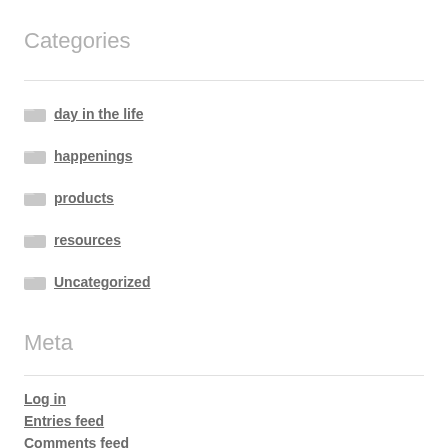Categories
day in the life
happenings
products
resources
Uncategorized
Meta
Log in
Entries feed
Comments feed